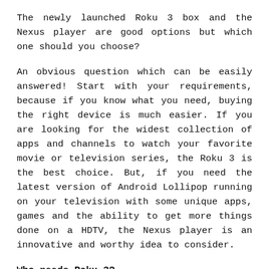The newly launched Roku 3 box and the Nexus player are good options but which one should you choose?
An obvious question which can be easily answered! Start with your requirements, because if you know what you need, buying the right device is much easier. If you are looking for the widest collection of apps and channels to watch your favorite movie or television series, the Roku 3 is the best choice. But, if you need the latest version of Android Lollipop running on your television with some unique apps, games and the ability to get more things done on a HDTV, the Nexus player is an innovative and worthy idea to consider.
Who needs Roku 3?